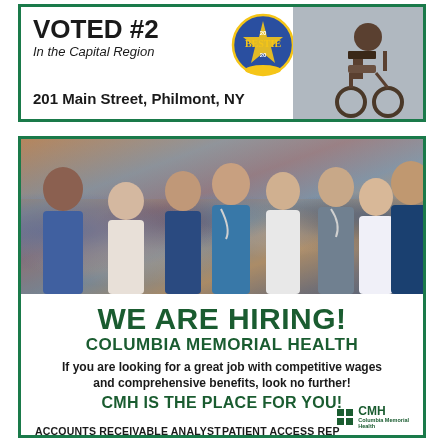[Figure (infographic): Top advertisement box with green border. Shows 'VOTED #2 In the Capital Region' text, Bestie 2020 award badge, address '201 Main Street, Philmont, NY', and a photo of a person in a wheelchair on the right side.]
VOTED #2
In the Capital Region
201 Main Street, Philmont, NY
[Figure (photo): Group photo of diverse medical professionals including doctors and nurses smiling, wearing scrubs and white coats.]
WE ARE HIRING!
COLUMBIA MEMORIAL HEALTH
If you are looking for a great job with competitive wages and comprehensive benefits, look no further!
CMH IS THE PLACE FOR YOU!
ACCOUNTS RECEIVABLE ANALYST
PATIENT ACCESS REP
SWITCHBOARD OPERATOR
DIETARY AIDE
UNIT SECRETARY/PCA
NURSES
HOUSEKEEPER
& MORE!
[Figure (logo): CMH Columbia Memorial Health logo with green squares grid and text]